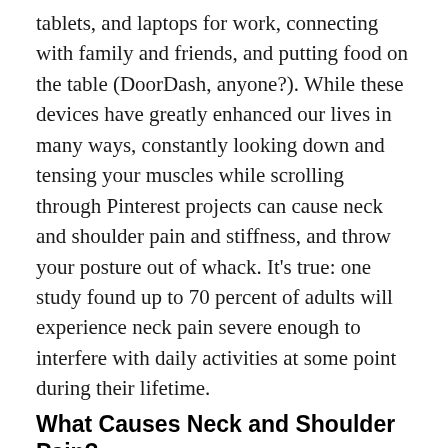tablets, and laptops for work, connecting with family and friends, and putting food on the table (DoorDash, anyone?). While these devices have greatly enhanced our lives in many ways, constantly looking down and tensing your muscles while scrolling through Pinterest projects can cause neck and shoulder pain and stiffness, and throw your posture out of whack. It's true: one study found up to 70 percent of adults will experience neck pain severe enough to interfere with daily activities at some point during their lifetime.
What Causes Neck and Shoulder Pain?
Plenty of things can cause neck and shoulder pain, from medical conditions to lifestyle factors (think: your sleeping position). But more often than not, the ouch is a result of the movement (or lack of movement) in your daily routine. For example,